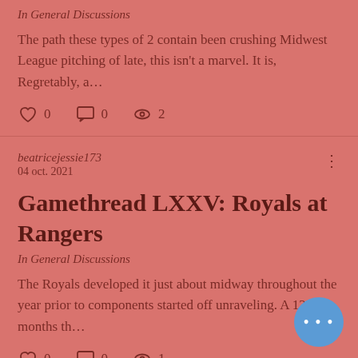In General Discussions
The path these types of 2 contain been crushing Midwest League pitching of late, this isn't a marvel. It is, Regretably, a…
0  0  2
beatricejessie173
04 oct. 2021
Gamethread LXXV: Royals at Rangers
In General Discussions
The Royals developed it just about midway throughout the year prior to components started off unraveling. A 12 months th…
0  0  1